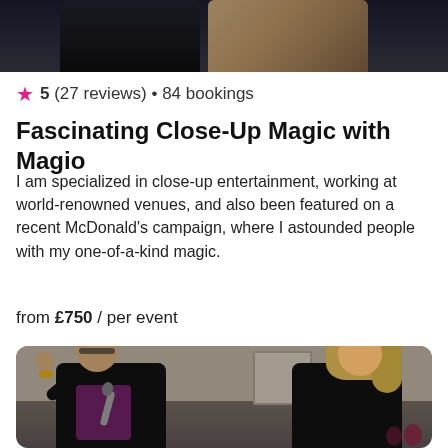[Figure (photo): Top portion of a performance photo showing two figures, partially cropped at the bottom of frame]
★ 5 (27 reviews) • 84 bookings
Fascinating Close-Up Magic with Magio
I am specialized in close-up entertainment, working at world-renowned venues, and also been featured on a recent McDonald's campaign, where I astounded people with my one-of-a-kind magic.
from £750 / per event
[Figure (photo): Photo of a male magician in a black jacket and purple shirt holding a microphone and gesturing with his right hand, while a blonde woman in a black outfit reacts with laughter on the right side]